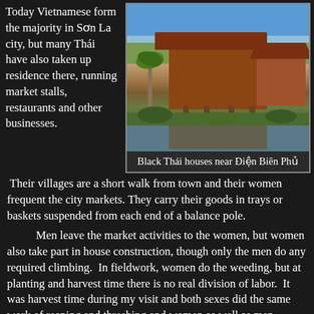Today Vietnamese form the majority in Sơn La city, but many Thái have also taken up residence there, running market stalls, restaurants and other businesses.
[Figure (photo): Black Thái traditional wooden stilt houses near Điện Biên Phủ, with palm trees and a pond reflecting the structures under a blue sky.]
Black Thái houses near Điện Biên Phủ
Their villages are a short walk from town and their women frequent the city markets. They carry their goods in trays or baskets suspended from each end of a balance pole.
Men leave the market activities to the women, but women also take part in house construction, though only the men do any required climbing.  In fieldwork, women do the weeding, but at planting and harvest time there is no real division of labor.  It was harvest time during my visit and both sexes did the same work of reaping and threshing and women as well as men handled the buffaloes that drove the plows over the newly cleared plots.
[Figure (photo): Landscape photo showing mountains or hills with a hazy blue-white sky.]
The only